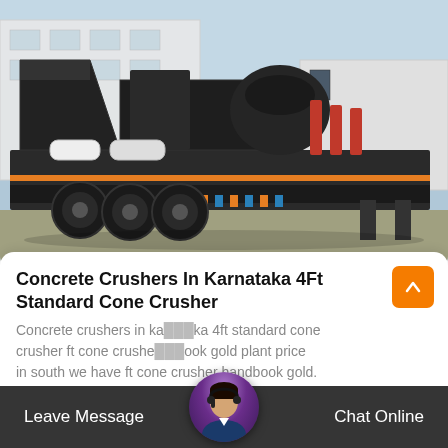[Figure (photo): A large mobile cone crusher machine on a trailer/flatbed truck, dark grey/black colored, with red hydraulic cylinders visible, orange and blue safety stripes on undercarriage, parked in front of a white industrial building. Clear sky visible.]
Concrete Crushers In Karnataka 4Ft Standard Cone Crusher
Concrete crushers in karnataka 4ft standard cone crusher ft cone crusher book gold plant price in south we have ft cone crusher handbook gold.
Leave Message   Chat Online